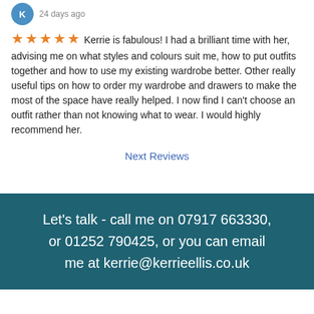24 days ago
Kerrie is fabulous! I had a brilliant time with her, advising me on what styles and colours suit me, how to put outfits together and how to use my existing wardrobe better. Other really useful tips on how to order my wardrobe and drawers to make the most of the space have really helped. I now find I can't choose an outfit rather than not knowing what to wear. I would highly recommend her.
Next Reviews
Let's talk - call me on 07917 663330, or 01252 790425, or you can email me at kerrie@kerrieellis.co.uk